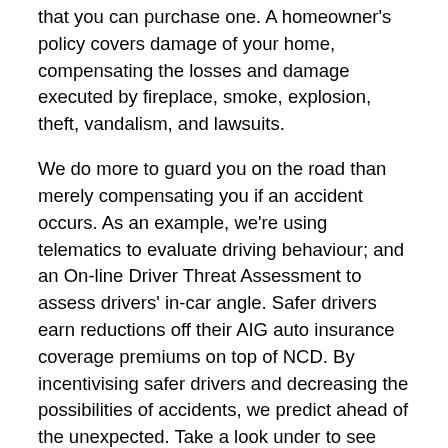that you can purchase one. A homeowner's policy covers damage of your home, compensating the losses and damage executed by fireplace, smoke, explosion, theft, vandalism, and lawsuits.
We do more to guard you on the road than merely compensating you if an accident occurs. As an example, we're using telematics to evaluate driving behaviour; and an On-line Driver Threat Assessment to assess drivers' in-car‎ angle. Safer drivers earn reductions off their AIG auto insurance coverage premiums on top of NCD. By incentivising safer drivers and decreasing the possibilities of accidents, we predict ahead of the unexpected. Take a look under to see how else we expect ahead of your wants on the street to make sure safer and smoother journeys.
General, solely 14 percent of respondents mistakenly believe that auto insurance covers car breakdowns and other mechanical problems. However youthful respondents (23 p.c of these aged 18 to 29) and those who make less cash (23 p.c of those that make lower than $30,000 a yr) were extra prone to consider insurance coverage covers routine automobile repairs.